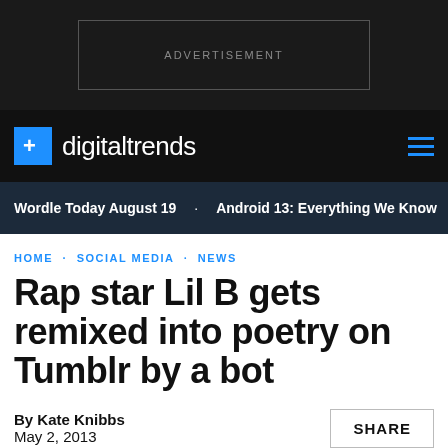[Figure (screenshot): Advertisement banner placeholder box with text ADVERTISEMENT on dark background]
digitaltrends
Wordle Today August 19  Android 13: Everything We Know
HOME · SOCIAL MEDIA · NEWS
Rap star Lil B gets remixed into poetry on Tumblr by a bot
By Kate Knibbs
May 2, 2013